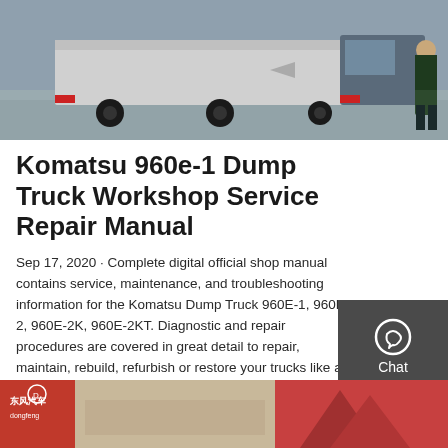[Figure (photo): Photo showing the rear of a large dump truck on a paved surface, with a person standing nearby in a green jacket.]
Komatsu 960e-1 Dump Truck Workshop Service Repair Manual
Sep 17, 2020 · Complete digital official shop manual contains service, maintenance, and troubleshooting information for the Komatsu Dump Truck 960E-1, 960E-2, 960E-2K, 960E-2KT. Diagnostic and repair procedures are covered in great detail to repair, maintain, rebuild, refurbish or restore your trucks like a professional mechanic in local
GET A QUOTE
[Figure (photo): Partial view of a red and gray vehicle or equipment at the bottom of the page, with Chinese text visible on the left side.]